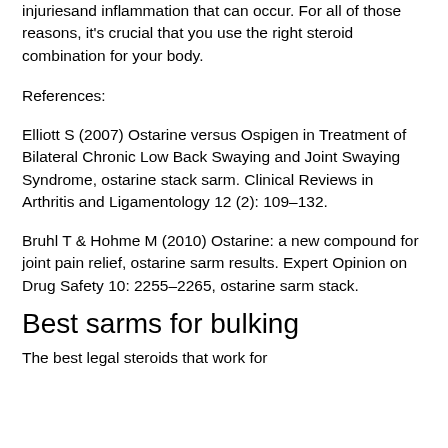injuriesand inflammation that can occur. For all of those reasons, it's crucial that you use the right steroid combination for your body.
References:
Elliott S (2007) Ostarine versus Ospigen in Treatment of Bilateral Chronic Low Back Swaying and Joint Swaying Syndrome, ostarine stack sarm. Clinical Reviews in Arthritis and Ligamentology 12 (2): 109–132.
Bruhl T & Hohme M (2010) Ostarine: a new compound for joint pain relief, ostarine sarm results. Expert Opinion on Drug Safety 10: 2255–2265, ostarine sarm stack.
Best sarms for bulking
The best legal steroids that work for